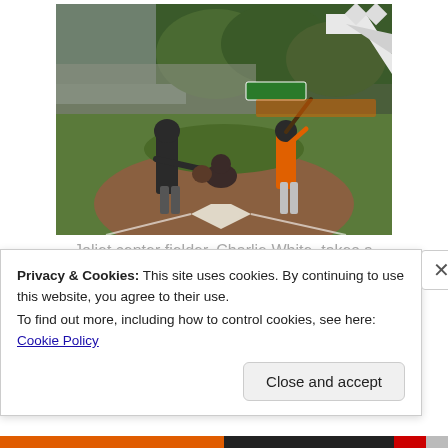[Figure (photo): Baseball game photo showing an umpire, catcher (Otters' JD Dorgan), and a batter (Joliet center fielder Charlie White) at home plate. Stadium seating, green trees, and a white tent visible in background.]
Joliet center fielder, Charlie White, takes a strike in the first inning. Otters' catcher is JD Dorgan.
Privacy & Cookies: This site uses cookies. By continuing to use this website, you agree to their use.
To find out more, including how to control cookies, see here: Cookie Policy